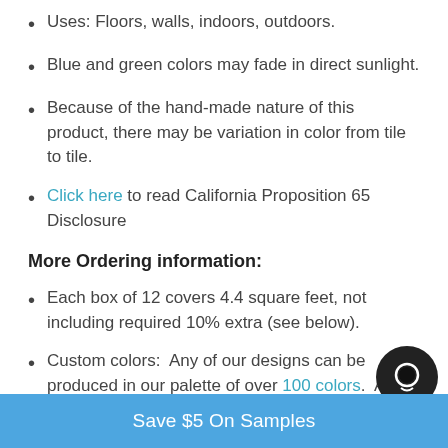Uses: Floors, walls, indoors, outdoors.
Blue and green colors may fade in direct sunlight.
Because of the hand-made nature of this product, there may be variation in color from tile to tile.
Click here to read California Proposition 65 Disclosure
More Ordering information:
Each box of 12 covers 4.4 square feet, not including required 10% extra (see below).
Custom colors:  Any of our designs can be produced in our palette of over 100 colors.  A surcharge applied to custom orders under 360 tile unit
Save $5 On Samples